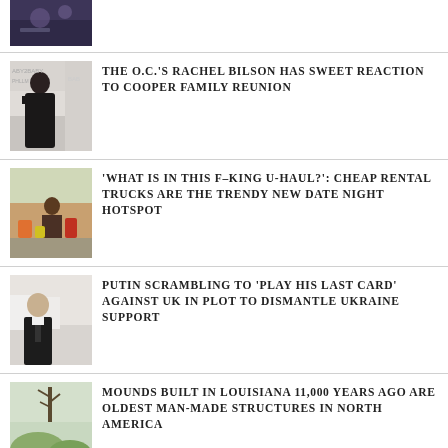[Figure (photo): Partial news thumbnail at top of page, dark/purple toned image]
[Figure (photo): Rachel Bilson in black off-shoulder dress at event]
THE O.C.'S RACHEL BILSON HAS SWEET REACTION TO COOPER FAMILY REUNION
[Figure (photo): Person in truck bed with snacks and items]
'WHAT IS IN THIS F–KING U-HAUL?': CHEAP RENTAL TRUCKS ARE THE TRENDY NEW DATE NIGHT HOTSPOT
[Figure (photo): Vladimir Putin in dark suit at public event]
PUTIN SCRAMBLING TO 'PLAY HIS LAST CARD' AGAINST UK IN PLOT TO DISMANTLE UKRAINE SUPPORT
[Figure (photo): Grass mounds/earthworks in Louisiana landscape]
MOUNDS BUILT IN LOUISIANA 11,000 YEARS AGO ARE OLDEST MAN-MADE STRUCTURES IN NORTH AMERICA